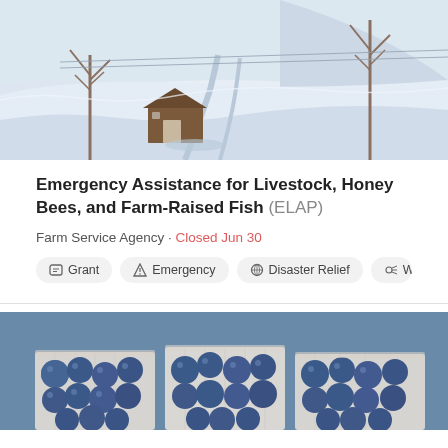[Figure (photo): Aerial winter farm scene with snow-covered fields, a wooden barn, and bare trees]
Emergency Assistance for Livestock, Honey Bees, and Farm-Raised Fish (ELAP)
Farm Service Agency · Closed Jun 30
Grant
Emergency
Disaster Relief
Wi...
[Figure (photo): Close-up of fresh blueberries in white paper containers/pints]